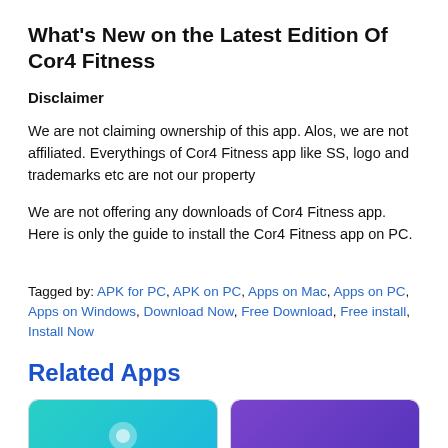What's New on the Latest Edition Of Cor4 Fitness
Disclaimer
We are not claiming ownership of this app. Alos, we are not affiliated. Everythings of Cor4 Fitness app like SS, logo and trademarks etc are not our property
We are not offering any downloads of Cor4 Fitness app. Here is only the guide to install the Cor4 Fitness app on PC.
Tagged by: APK for PC, APK on PC, Apps on Mac, Apps on PC, Apps on Windows, Download Now, Free Download, Free install, Install Now
Related Apps
[Figure (illustration): Two app card thumbnails partially visible at bottom of page, left card has teal/cyan gradient background, right card has purple gradient background]